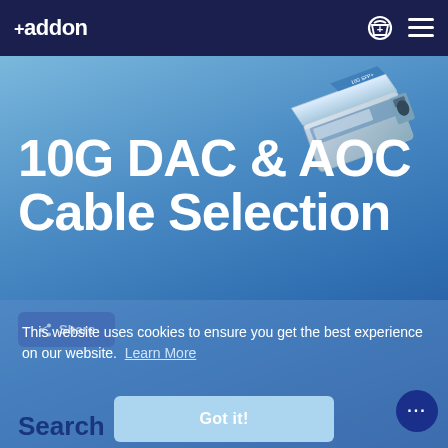+addon
[Figure (photo): 10G SFP+ transceiver module / cable product photograph, showing silver/grey networking hardware module at upper right of hero image]
10G DAC & AOC Cable Selection
Share
This website uses cookies to ensure you get the best experience on our website. Learn More
Got it!
Search